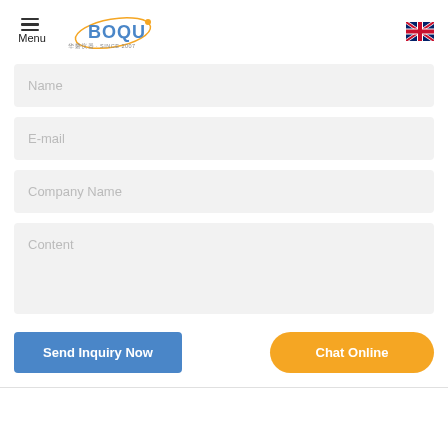Menu | BOQU SINCE 2007
Name
E-mail
Company Name
Content
Send Inquiry Now
Chat Online